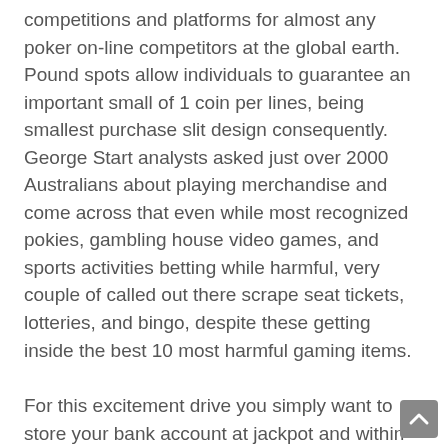competitions and platforms for almost any poker on-line competitors at the global earth. Pound spots allow individuals to guarantee an important small of 1 coin per lines, being smallest purchase slit design consequently. George Start analysts asked just over 2000 Australians about playing merchandise and come across that even while most recognized pokies, gambling house video games, and sports activities betting while harmful, very couple of called out there scrape seat tickets, lotteries, and bingo, despite these getting inside the best 10 most harmful gaming items.
For this excitement drive you simply want to store your bank account at jackpot and within zero moment you might enjoy the exciting drive of the gambling den bets. In addition, the portion of non-gamblers inside the most recent study has been almost mainly because higher mainly because the 86 pct of Iowans who claimed definitely not casino in the 1989 poll-before any casinos